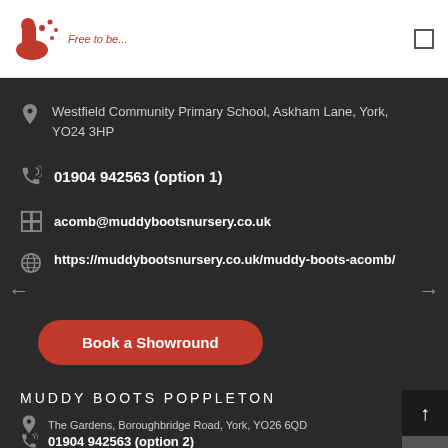[Figure (logo): Muddy Boots nursery logo - red boot illustration with 'Free to be...' tagline]
Westfield Community Primary School, Askham Lane, York, YO24 3HP
01904 942563 (option 1)
acomb@muddybootsnursery.co.uk
https://muddybootsnursery.co.uk/muddy-boots-acomb/
Book a Showround
MUDDY BOOTS POPPLETON
The Gardens, Boroughbridge Road, York, YO26 6QD
01904 942563 (option 2)